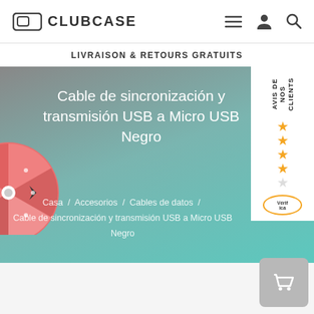CLUBCASE
LIVRAISON & RETOURS GRATUITS
Cable de sincronización y transmisión USB a Micro USB Negro
Casa / Accesorios / Cables de datos / Cable de sincronización y transmisión USB a Micro USB Negro
[Figure (screenshot): AVIS DE NOS CLIENTS sidebar with star ratings and Verified logo]
[Figure (illustration): Spinning wheel / prize wheel illustration on left side of hero banner]
[Figure (other): Shopping cart button in bottom right corner]